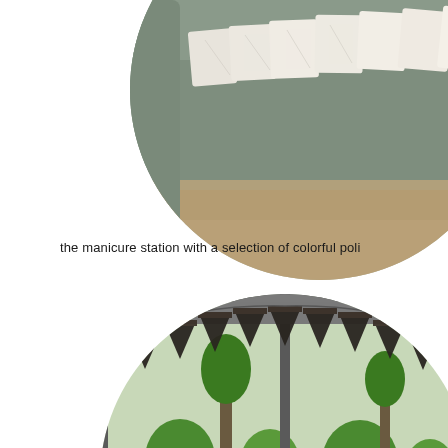[Figure (photo): Circular cropped photo showing folded white garments or cloth items arranged in a row on a gray upholstered sofa/couch, with a patterned rug visible in the background.]
the manicure station with a selection of colorful poli
[Figure (photo): Circular cropped photo showing decorative dark bunting/banner flags hung in an arc, viewed through a window or glass door looking out to a garden with green shrubs and trees.]